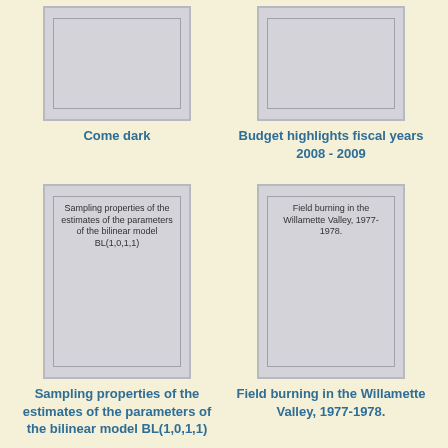[Figure (illustration): Book cover thumbnail for 'Come dark', shown as gray rectangle with inner border]
Come dark
[Figure (illustration): Book cover thumbnail for 'Budget highlights fiscal years 2008 - 2009', shown as gray rectangle with inner border]
Budget highlights fiscal years 2008 - 2009
[Figure (illustration): Book cover thumbnail for 'Sampling properties of the estimates of the parameters of the bilinear model BL(1,0,1,1)', shown as gray rectangle with inner border and text on cover]
Sampling properties of the estimates of the parameters of the bilinear model BL(1,0,1,1)
[Figure (illustration): Book cover thumbnail for 'Field burning in the Willamette Valley, 1977-1978.', shown as gray rectangle with inner border and text on cover]
Field burning in the Willamette Valley, 1977-1978.
[Figure (illustration): Partial book cover thumbnail at bottom left, gray rectangle]
[Figure (illustration): Partial book cover thumbnail at bottom right, gray rectangle]